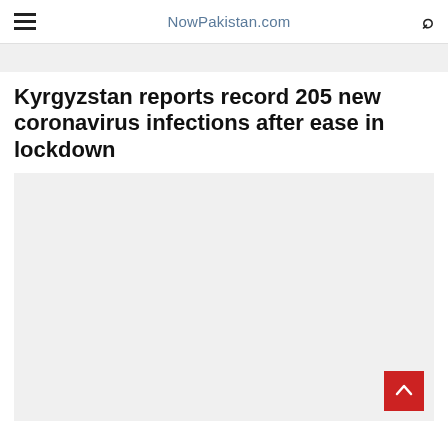NowPakistan.com
[Figure (other): Gray banner/ad placeholder at top]
Kyrgyzstan reports record 205 new coronavirus infections after ease in lockdown
[Figure (photo): Large gray image placeholder area below the headline]